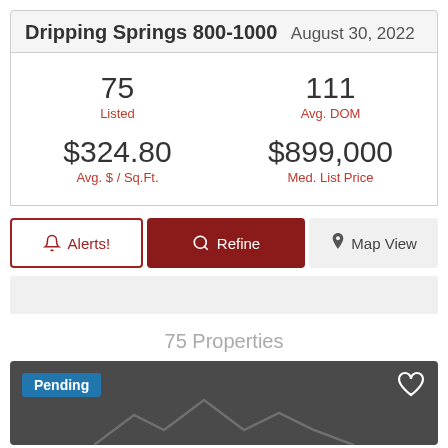Dripping Springs 800-1000  August 30, 2022
| Metric | Value |
| --- | --- |
| Listed | 75 |
| Avg. DOM | 111 |
| Avg. $ / Sq.Ft. | $324.80 |
| Med. List Price | $899,000 |
Alerts!
Refine
Map View
75 Properties
Pending